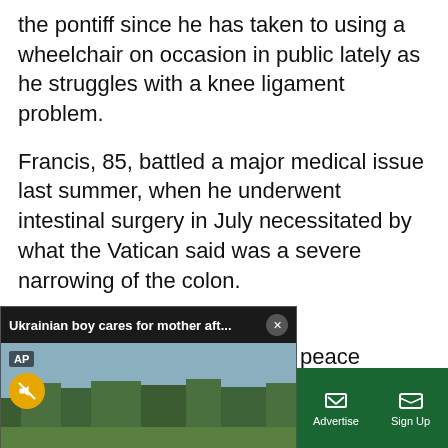the pontiff since he has taken to using a wheelchair on occasion in public lately as he struggles with a knee ligament problem.
Francis, 85, battled a major medical issue last summer, when he underwent intestinal surgery in July necessitated by what the Vatican said was a severe narrowing of the colon.
[Figure (screenshot): Embedded video player overlay with title 'Ukrainian boy cares for mother aft...' showing a field/meadow scene with AP branding and a mute button.]
peace agreement t, South Sudan is g an economy risking arian situation and lement the peace nd said.
Sections | NY Edition | Philly | Games | Advertise | Sign Up